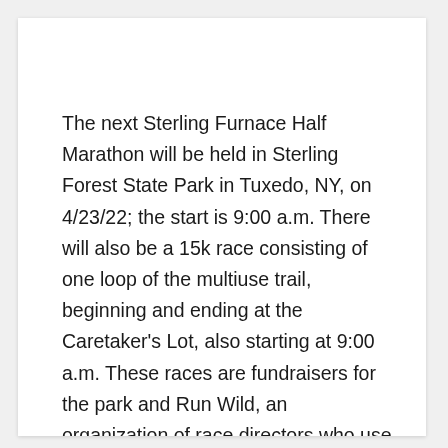The next Sterling Furnace Half Marathon will be held in Sterling Forest State Park in Tuxedo, NY, on 4/23/22; the start is 9:00 a.m. There will also be a 15k race consisting of one loop of the multiuse trail, beginning and ending at the Caretaker's Lot, also starting at 9:00 a.m. These races are fundraisers for the park and Run Wild, an organization of race directors who use the proceeds of their races to support land conservation in the Hudson Valley, and the New York New Jersey Trail Conference. The half marathon course begins with an 9+ mile, continuous trail run and finishes with...